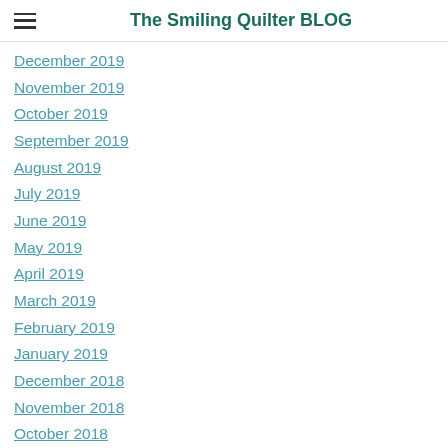The Smiling Quilter BLOG
December 2019
November 2019
October 2019
September 2019
August 2019
July 2019
June 2019
May 2019
April 2019
March 2019
February 2019
January 2019
December 2018
November 2018
October 2018
September 2018
August 2018